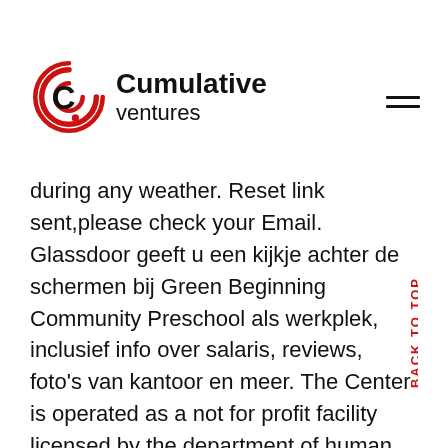Cumulative ventures
during any weather. Reset link sent,please check your Email. Glassdoor geeft u een kijkje achter de schermen bij Green Beginning Community Preschool als werkplek, inclusief info over salaris, reviews, foto's van kantoor en meer. The Center is operated as a not for profit facility licensed by the department of human resources, for children of any race, color, or creed ages six weeks to twelve years. Provided a preschool for children two through five. It is our hope that this website will provide you with the information you seek about our school community. A whole new view of hostile architecture. The park has special hours for